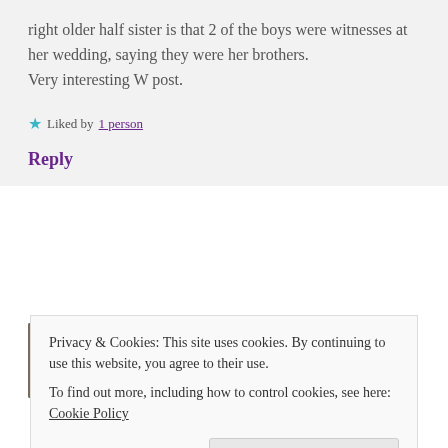right older half sister is that 2 of the boys were witnesses at her wedding, saying they were her brothers.
Very interesting W post.
★ Liked by 1 person
Reply
cassmob  27 April, 2016 at 4:38 pm
Privacy & Cookies: This site uses cookies. By continuing to use this website, you agree to their use.
To find out more, including how to control cookies, see here: Cookie Policy
Close and accept